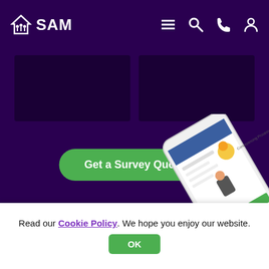SAM - navigation header with logo, menu, search, phone, and user icons
[Figure (screenshot): Two dark purple placeholder content boxes below the header]
Get a Survey Quote
[Figure (photo): Phone mockup showing a Conveyancing Process app screen with illustrated characters]
Read our Cookie Policy. We hope you enjoy our website.
OK